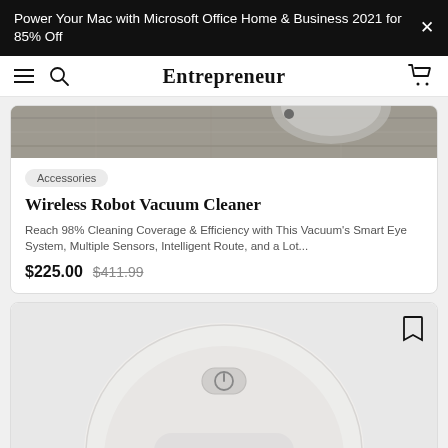Power Your Mac with Microsoft Office Home & Business 2021 for 85% Off
Entrepreneur
[Figure (photo): Partial top view of a robot vacuum on wood floor — cropped image at top of product card]
Accessories
Wireless Robot Vacuum Cleaner
Reach 98% Cleaning Coverage & Efficiency with This Vacuum's Smart Eye System, Multiple Sensors, Intelligent Route, and a Lot...
$225.00  $411.99
[Figure (photo): White robot vacuum cleaner viewed from above, showing circular body with power button and flat control pad, against light gray background]